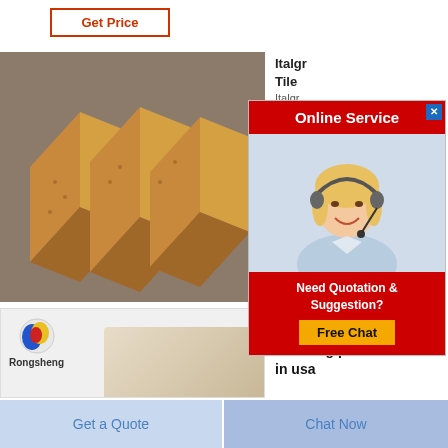Get Price
[Figure (photo): Three rectangular blocks of brown material (possibly soap or mineral samples) standing upright on a gray surface]
[Figure (photo): Rongsheng branded image with logo and a partial view of a beige/tan block on white background]
Italgr
Tile
Italgr
120x
[Figure (screenshot): Online Service popup widget with red header, female customer service agent with headset, and a 'Need Quotation & Suggestion? Free Chat' button]
complete spread rock crushing plants for sale in usa
Rock Crushing Machine for Sale
Get a Quote
Chat Now